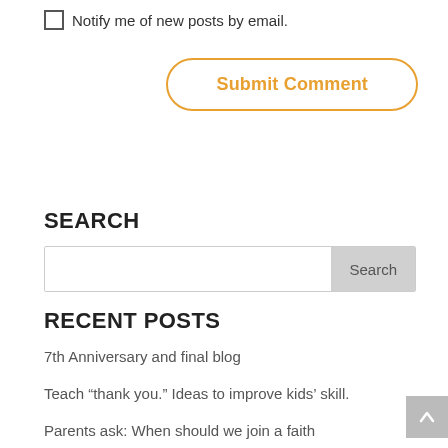Notify me of new posts by email.
[Figure (other): Submit Comment button with orange border and orange text, rounded rectangle]
SEARCH
[Figure (other): Search input bar with text field and gray Search button]
RECENT POSTS
7th Anniversary and final blog
Teach “thank you.” Ideas to improve kids’ skill.
Parents ask: When should we join a faith